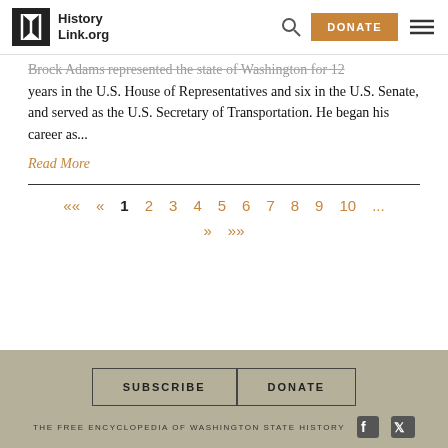HistoryLink.org — DONATE
Brock Adams represented the state of Washington for 12 years in the U.S. House of Representatives and six in the U.S. Senate, and served as the U.S. Secretary of Transportation. He began his career as...
Read More
«« « 1 2 3 4 5 6 7 8 9 10 ... » »»
SUBSCRIBE  DONATE  THE FREE ENCYCLOPEDIA OF WASHINGTON STATE HISTORY